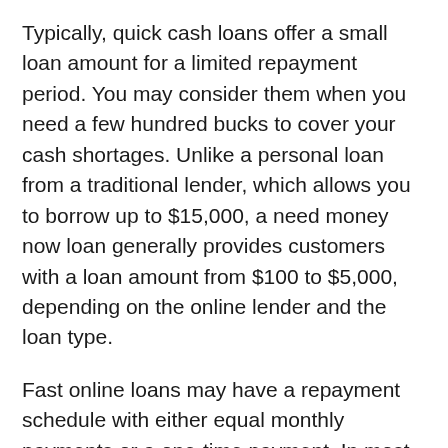Typically, quick cash loans offer a small loan amount for a limited repayment period. You may consider them when you need a few hundred bucks to cover your cash shortages. Unlike a personal loan from a traditional lender, which allows you to borrow up to $15,000, a need money now loan generally provides customers with a loan amount from $100 to $5,000, depending on the online lender and the loan type.
Fast online loans may have a repayment schedule with either equal monthly payments or a one-time payment. In most cases, the lender will automatically withdraw the initial loan amount plus interest rates from your checking account when due.